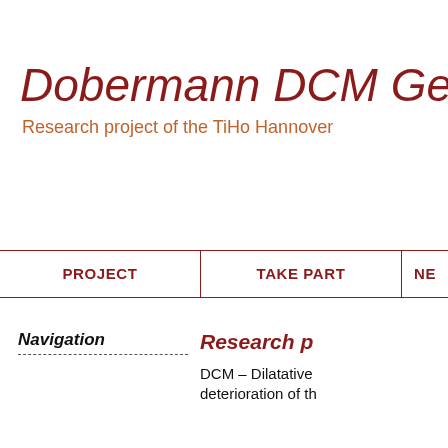Dobermann DCM Genete
Research project of the TiHo Hannover
PROJECT
TAKE PART
NE
Research p
Navigation
DCM – Dilatative deterioration of th